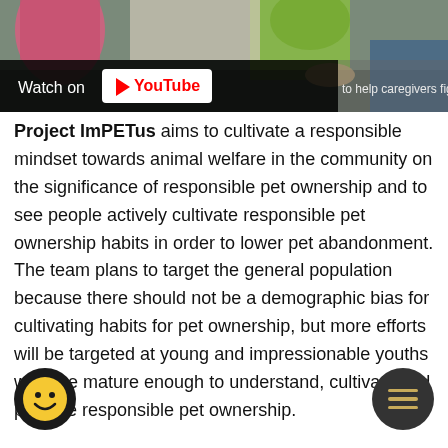[Figure (screenshot): YouTube video thumbnail showing people, with 'Watch on YouTube' bar overlay and partial text 'to help caregivers fight devi' visible on the right]
Project ImPETus aims to cultivate a responsible mindset towards animal welfare in the community on the significance of responsible pet ownership and to see people actively cultivate responsible pet ownership habits in order to lower pet abandonment. The team plans to target the general population because there should not be a demographic bias for cultivating habits for pet ownership, but more efforts will be targeted at young and impressionable youths who are mature enough to understand, cultivate and practice responsible pet ownership.